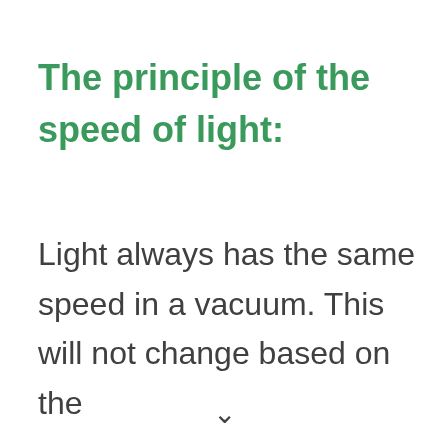The principle of the speed of light:
Light always has the same speed in a vacuum. This will not change based on the